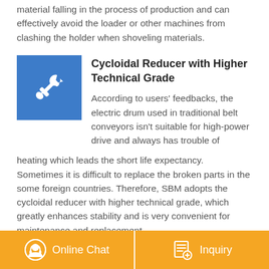material falling in the process of production and can effectively avoid the loader or other machines from clashing the holder when shoveling materials.
Cycloidal Reducer with Higher Technical Grade
[Figure (illustration): Blue square icon with white wrench/spanner symbol]
According to users' feedbacks, the electric drum used in traditional belt conveyors isn't suitable for high-power drive and always has trouble of heating which leads the short life expectancy. Sometimes it is difficult to replace the broken parts in the some foreign countries. Therefore, SBM adopts the cycloidal reducer with higher technical grade, which greatly enhances stability and is very convenient for maintenance and replacement.
Online Chat | Inquiry